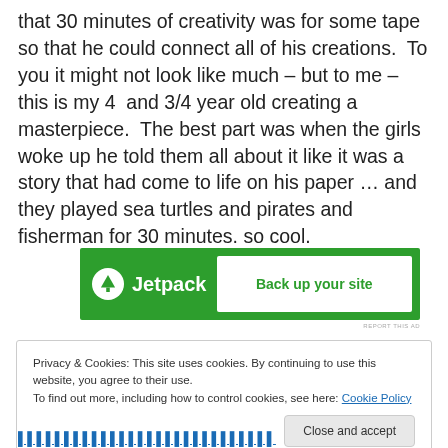that 30 minutes of creativity was for some tape so that he could connect all of his creations. To you it might not look like much – but to me – this is my 4 and 3/4 year old creating a masterpiece. The best part was when the girls woke up he told them all about it like it was a story that had come to life on his paper … and they played sea turtles and pirates and fisherman for 30 minutes. so cool.
[Figure (other): Jetpack advertisement banner with green background showing Jetpack logo and 'Back up your site' button]
Privacy & Cookies: This site uses cookies. By continuing to use this website, you agree to their use.
To find out more, including how to control cookies, see here: Cookie Policy
[Close and accept button]
partial bottom text visible (blue link text)